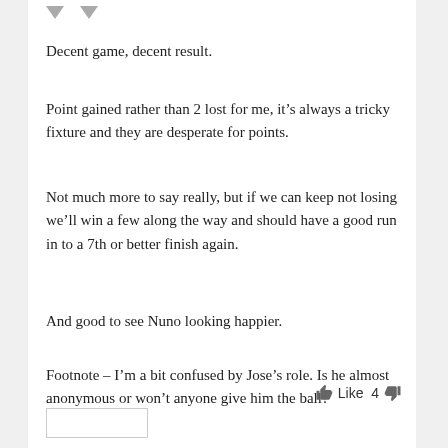Decent game, decent result.
Point gained rather than 2 lost for me, it’s always a tricky fixture and they are desperate for points.
Not much more to say really, but if we can keep not losing we’ll win a few along the way and should have a good run in to a 7th or better finish again.
And good to see Nuno looking happier.
Footnote – I’m a bit confused by Jose’s role. Is he almost anonymous or won’t anyone give him the ball?
Like 4